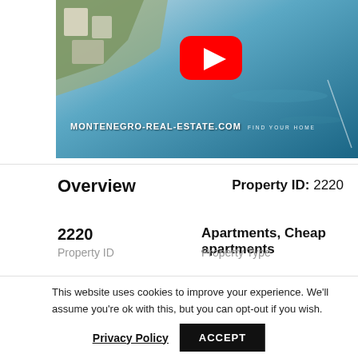[Figure (screenshot): YouTube video thumbnail showing aerial coastal view with Montenegro Real Estate website branding. Shows blue sea water, coastline with white buildings, a YouTube play button icon in red, and text 'MONTENEGRO-REAL-ESTATE.COM FIND YOUR HOME']
Overview
Property ID: 2220
2220
Property ID
Apartments, Cheap apartments
Property Type
This website uses cookies to improve your experience. We'll assume you're ok with this, but you can opt-out if you wish.
Privacy Policy   ACCEPT